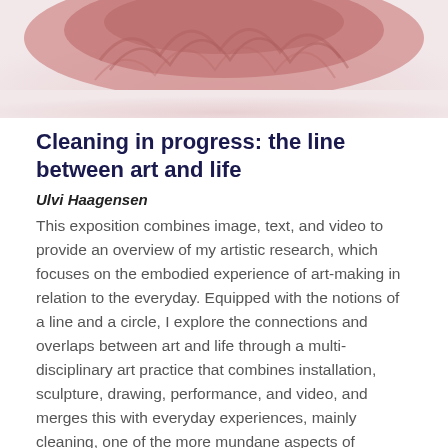[Figure (photo): Close-up photo of a pink textured sculptural object against a soft background, cropped at top of page]
Cleaning in progress: the line between art and life
Ulvi Haagensen
This exposition combines image, text, and video to provide an overview of my artistic research, which focuses on the embodied experience of art-making in relation to the everyday. Equipped with the notions of a line and a circle, I explore the connections and overlaps between art and life through a multi-disciplinary art practice that combines installation, sculpture, drawing, performance, and video, and merges this with everyday experiences, mainly cleaning, one of the more mundane aspects of everyday life. In this work, I am accompanied by three imaginary friends, who are also artists.